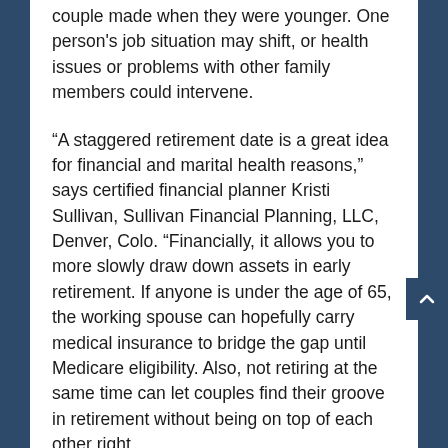couple made when they were younger. One person's job situation may shift, or health issues or problems with other family members could intervene.
“A staggered retirement date is a great idea for financial and marital health reasons,” says certified financial planner Kristi Sullivan, Sullivan Financial Planning, LLC, Denver, Colo. “Financially, it allows you to more slowly draw down assets in early retirement. If anyone is under the age of 65, the working spouse can hopefully carry medical insurance to bridge the gap until Medicare eligibility. Also, not retiring at the same time can let couples find their groove in retirement without being on top of each other right